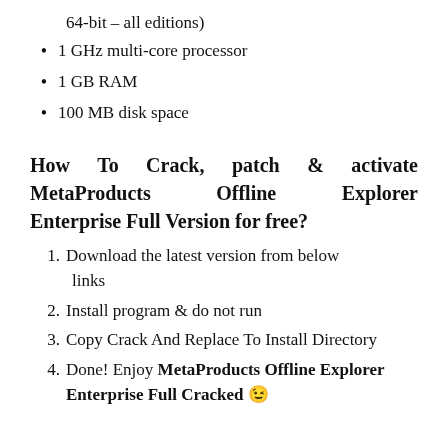64-bit – all editions)
1 GHz multi-core processor
1 GB RAM
100 MB disk space
How To Crack, patch & activate MetaProducts Offline Explorer Enterprise Full Version for free?
Download the latest version from below links
Install program & do not run
Copy Crack And Replace To Install Directory
Done! Enjoy MetaProducts Offline Explorer Enterprise Full Cracked 😉